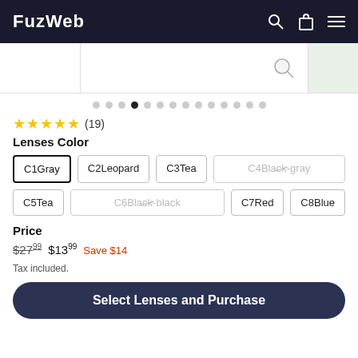FuzWeb
[Figure (screenshot): Product image strip showing partial product photos with a search icon overlay]
[Figure (other): Pagination dots row with 14 dots, 4th dot filled/active]
★★★★★ (19)
Lenses Color
C1Gray (selected), C2Leopard, C3Tea, C4Black-gray (unavailable), C5Tea, C6Black-black (unavailable), C7Red, C8Blue
Price
$27.99  $13.99  Save $14
Tax included.
Select Lenses and Purchase